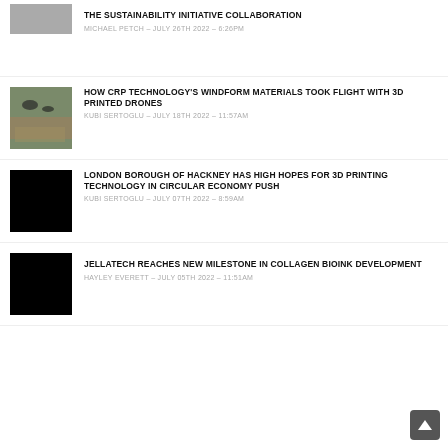[Figure (photo): Partially visible thumbnail image at top (cropped)]
THE SUSTAINABILITY INITIATIVE COLLABORATION
MICHAEL PETCH – JULY 26TH 2022 – 6:26PM
[Figure (photo): Drone flying over landscape]
HOW CRP TECHNOLOGY'S WINDFORM MATERIALS TOOK FLIGHT WITH 3D PRINTED DRONES
KUBI SERTOGLU – JULY 18TH 2022 – 11:57AM
[Figure (photo): Black thumbnail image]
LONDON BOROUGH OF HACKNEY HAS HIGH HOPES FOR 3D PRINTING TECHNOLOGY IN CIRCULAR ECONOMY PUSH
KUBI SERTOGLU – JULY 07TH 2022 – 8:59AM
[Figure (photo): Black thumbnail image]
JELLATECH REACHES NEW MILESTONE IN COLLAGEN BIOINK DEVELOPMENT
HAYLEY EVERETT – JULY 05TH 2022 – 11:51AM